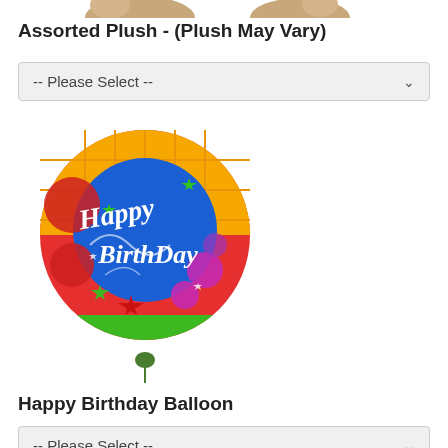Assorted Plush - (Plush May Vary)
[Figure (other): Dropdown select box with placeholder text '-- Please Select --']
[Figure (photo): Colorful Happy Birthday foil balloon with blue center, rainbow colors, stars, and script text reading 'Happy BirthDay']
Happy Birthday Balloon
[Figure (other): Dropdown select box with placeholder text '-- Please Select --']
[Figure (photo): Beige/tan teddy bear plush toy, top portion visible showing face with small dark eyes and nose]